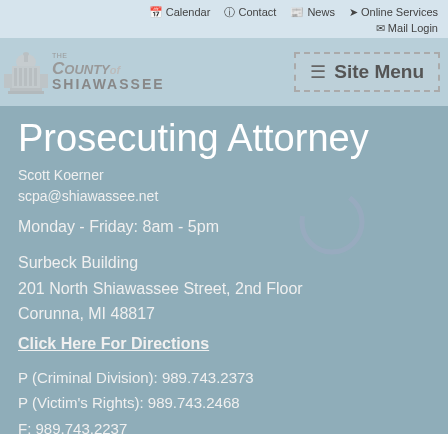Calendar  Contact  News  Online Services  Mail Login
[Figure (logo): County of Shiawassee logo with capitol building illustration and site menu button]
Prosecuting Attorney
Scott Koerner
scpa@shiawassee.net
Monday - Friday: 8am - 5pm
Surbeck Building
201 North Shiawassee Street, 2nd Floor
Corunna, MI 48817
Click Here For Directions
P (Criminal Division): 989.743.2373
P (Victim's Rights): 989.743.2468
F: 989.743.2237